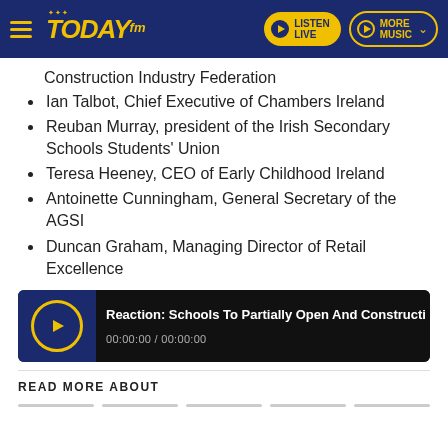Today FM — LISTEN LIVE | MORE MUSIC
Construction Industry Federation
Ian Talbot, Chief Executive of Chambers Ireland
Reuban Murray, president of the Irish Secondary Schools Students' Union
Teresa Heeney, CEO of Early Childhood Ireland
Antoinette Cunningham, General Secretary of the AGSI
Duncan Graham, Managing Director of Retail Excellence
[Figure (screenshot): Audio player widget showing title 'Reaction: Schools To Partially Open And Constructi' with timestamp 00:00:00 / 00:00:00]
READ MORE ABOUT